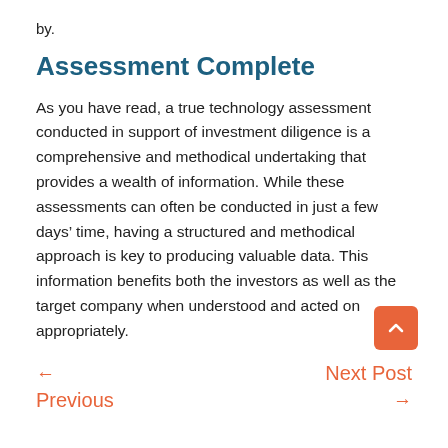by.
Assessment Complete
As you have read, a true technology assessment conducted in support of investment diligence is a comprehensive and methodical undertaking that provides a wealth of information. While these assessments can often be conducted in just a few days’ time, having a structured and methodical approach is key to producing valuable data. This information benefits both the investors as well as the target company when understood and acted on appropriately.
←   Next Post
Previous   →